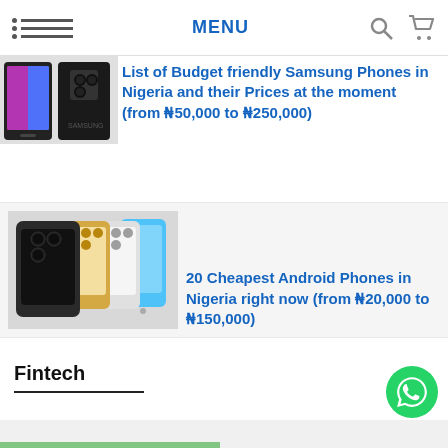MENU
[Figure (photo): Samsung smartphones — two phones side by side showing screens and back]
List of Budget friendly Samsung Phones in Nigeria and their Prices at the moment (from N50,000 to N250,000)
[Figure (photo): Multiple iPhone 13 Pro models in different colors lined up together]
20 Cheapest Android Phones in Nigeria right now (from N20,000 to N150,000)
Fintech